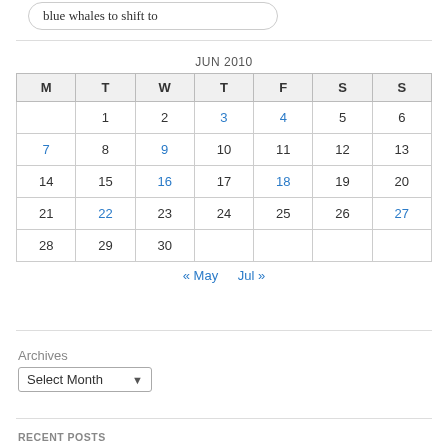blue whales to shift to
| M | T | W | T | F | S | S |
| --- | --- | --- | --- | --- | --- | --- |
|  | 1 | 2 | 3 | 4 | 5 | 6 |
| 7 | 8 | 9 | 10 | 11 | 12 | 13 |
| 14 | 15 | 16 | 17 | 18 | 19 | 20 |
| 21 | 22 | 23 | 24 | 25 | 26 | 27 |
| 28 | 29 | 30 |  |  |  |  |
« May   Jul »
Archives
Select Month
RECENT POSTS